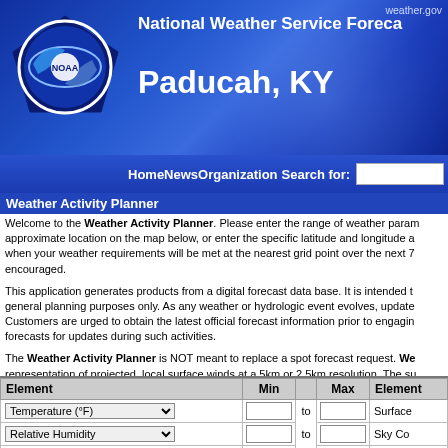weather.gov
National Weather Service Forecast Office — Paducah, KY
HomeNewsOrganization Search for: [search box] NWS
Weather Activity Planner
Welcome to the Weather Activity Planner. Please enter the range of weather parameters that best fit your activity needs and select an approximate location on the map below, or enter the specific latitude and longitude at the top of the page. The planner will indicate times when your weather requirements will be met at the nearest grid point over the next 7 days. Multi-day planning is encouraged.
This application generates products from a digital forecast data base. It is intended to be used for recreation and general planning purposes only. As any weather or hydrologic event evolves, updates may be issued frequently. Customers are urged to obtain the latest official forecast information prior to engaging in outdoor activities, and to monitor forecasts for updates during such activities.
The Weather Activity Planner is NOT meant to replace a spot forecast request. Weather data used here is a representation of projected, local surface winds at a 5km or 2.5km resolution. The surface wind data does not account for sheltering or slope aspect. Users can select either surface wind speeds or 20 foot winds for planning activities. If more precise forecasts are needed, please submit a spot forecast request to your servicing Weather Forecast Office.
| Element | Min | Max | Element |
| --- | --- | --- | --- |
| Temperature (°F) ▾ |  | to |  | Surface |
| Relative Humidity ▾ |  | to |  | Sky Co |
| Surface Wind Speed (mph) ▾ |  | to |  | Precipi |